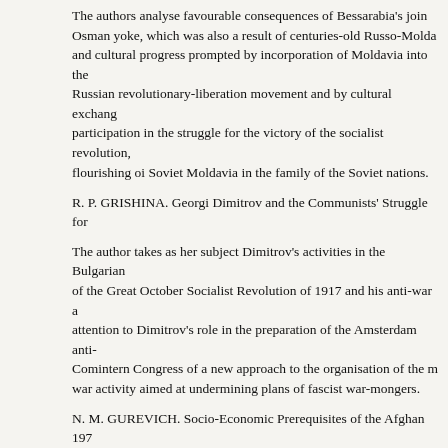The authors analyse favourable consequences of Bessarabia's join Osman yoke, which was also a result of centuries-old Russo-Molda and cultural progress prompted by incorporation of Moldavia into the Russian revolutionary-liberation movement and by cultural exchang participation in the struggle for the victory of the socialist revolution, flourishing oi Soviet Moldavia in the family of the Soviet nations.
R. P. GRISHINA. Georgi Dimitrov and the Communists' Struggle for
The author takes as her subject Dimitrov's activities in the Bulgarian of the Great October Socialist Revolution of 1917 and his anti-war a attention to Dimitrov's role in the preparation of the Amsterdam anti- Comintern Congress of a new approach to the organisation of the m war activity aimed at undermining plans of fascist war-mongers.
N. M. GUREVICH. Socio-Economic Prerequisites of the Afghan 197
The 1978 revolution was caused by dissatisfaction of the broad pop deterioration of their conditions. In the post-war period, in the conte production lowered while the shift from the state-feudal to the privat exploitation in the countryside, as a result of which the peasants we landowners were growing richer. In conclusion the author analyses
B. G. MOGILNITSKY. Marxist and Bourgeois Historism (An Attempt
The author gives a comparative analysis of the two main forms of hi thought, that of Marxist and bourgeois historism, discusses the proc Leninist historism, its characteristic features and cognitive potentiali trends and its present crisis. The article forwards a proposition that